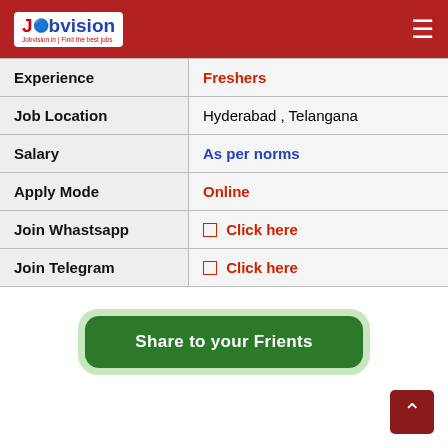Jobvision.in | Find the best jobs
| Experience | Freshers |
| Job Location | Hyderabad , Telangana |
| Salary | As per norms |
| Apply Mode | Online |
| Join Whastsapp | 🟥 Click here |
| Join Telegram | 🟥 Click here |
Share to your Frients